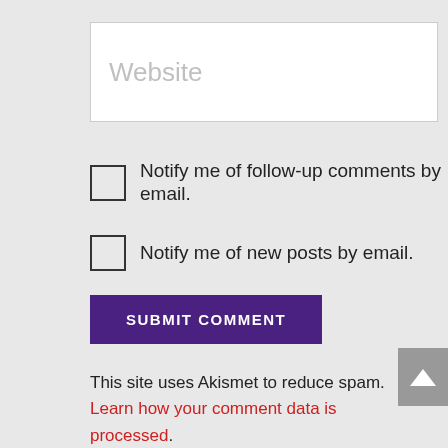Website (placeholder input field)
Notify me of follow-up comments by email.
Notify me of new posts by email.
SUBMIT COMMENT
This site uses Akismet to reduce spam. Learn how your comment data is processed.